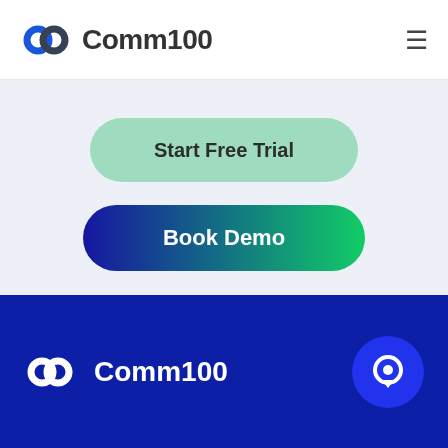[Figure (logo): Comm100 logo in navigation bar — infinity-style double-C icon in blue/dark, text 'Comm100' in dark gray, hamburger menu icon on right]
[Figure (screenshot): Start Free Trial button — light green pill-shaped button with bold dark text]
[Figure (screenshot): Book Demo button — pill-shaped button with blue-to-green gradient and white bold text]
[Figure (logo): Comm100 logo in dark navy footer — white infinity icon and white 'Comm100' text, blue circle chat bubble icon on right]